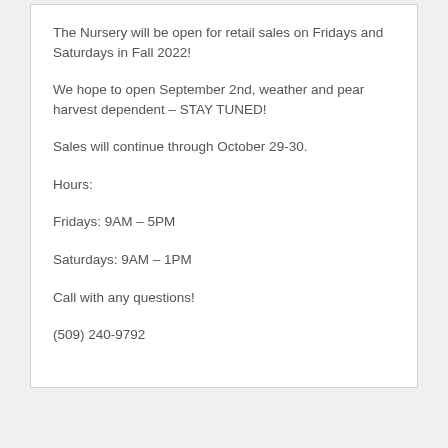The Nursery will be open for retail sales on Fridays and Saturdays in Fall 2022!
We hope to open September 2nd, weather and pear harvest dependent – STAY TUNED!
Sales will continue through October 29-30.
Hours:
Fridays: 9AM – 5PM
Saturdays: 9AM – 1PM
Call with any questions!
(509) 240-9792